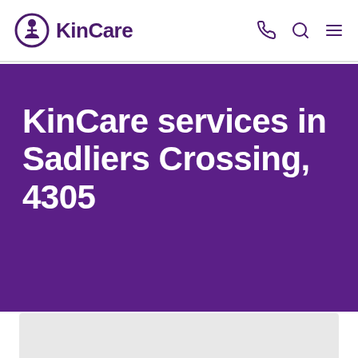KinCare
KinCare services in Sadliers Crossing, 4305
[Figure (map): Partial map view at bottom of page]